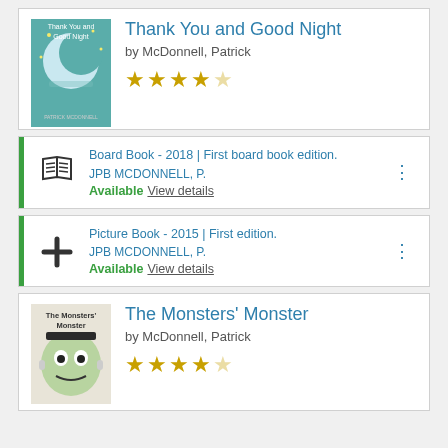Thank You and Good Night
by McDonnell, Patrick
★★★★☆ (4 stars)
Board Book - 2018 | First board book edition. JPB MCDONNELL, P. Available View details
Picture Book - 2015 | First edition. JPB MCDONNELL, P. Available View details
The Monsters' Monster
by McDonnell, Patrick
★★★★☆ (4 stars)